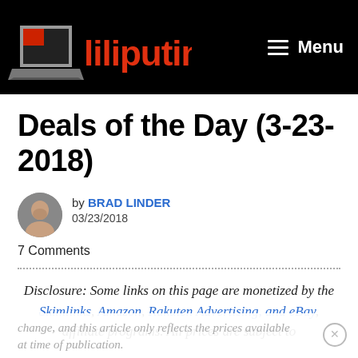[Figure (logo): Liliputing website logo with laptop icon and red text on black background]
≡ Menu
Deals of the Day (3-23-2018)
by BRAD LINDER
03/23/2018
7 Comments
Disclosure: Some links on this page are monetized by the Skimlinks, Amazon, Rakuten Advertising, and eBay, affiliate programs. All prices are subject to change, and this article only reflects the prices available at time of publication.